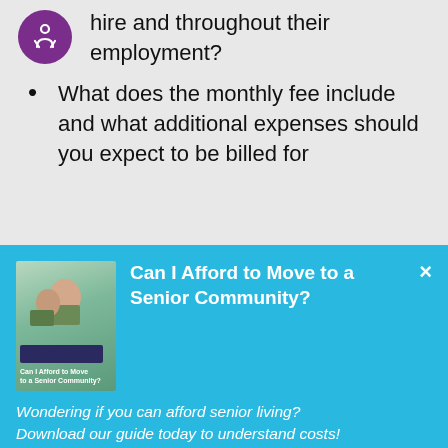caregiver go through at the time of hire and throughout their employment?
What does the monthly fee include and what additional expenses should you expect to be billed for
[Figure (infographic): Cyan/blue promotional banner with book cover image showing people outdoors, bold white title 'Can I Afford to Move to a Senior Community?', italic subtext, and a Download Today button]
Can I Afford to Move to a Senior Community?
Wondering if you can afford senior living? Download our guide today to understand costs!
Download Today